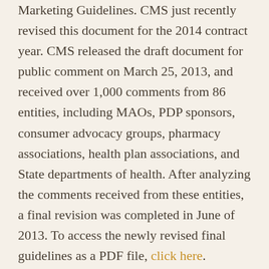Marketing Guidelines. CMS just recently revised this document for the 2014 contract year. CMS released the draft document for public comment on March 25, 2013, and received over 1,000 comments from 86 entities, including MAOs, PDP sponsors, consumer advocacy groups, pharmacy associations, health plan associations, and State departments of health. After analyzing the comments received from these entities, a final revision was completed in June of 2013. To access the newly revised final guidelines as a PDF file, click here.
The Medicare Marketing Guidelines document provides a comprehensive overview of all Medicare Marketing Guidelines and it is recommended that health plan marketers become familiar with its contents and use it as a reference guide when creating new marketing materials, campaigns, advertising or other